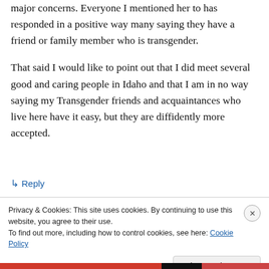major concerns. Everyone I mentioned her to has responded in a positive way many saying they have a friend or family member who is transgender.
That said I would like to point out that I did meet several good and caring people in Idaho and that I am in no way saying my Transgender friends and acquaintances who live here have it easy, but they are diffidently more accepted.
↳ Reply
Privacy & Cookies: This site uses cookies. By continuing to use this website, you agree to their use. To find out more, including how to control cookies, see here: Cookie Policy
Close and accept